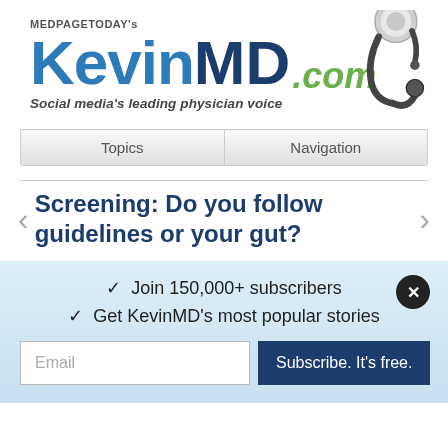[Figure (logo): MedPageToday's KevinMD.com logo with stethoscope graphic and tagline 'Social media's leading physician voice']
| Topics | Navigation |
| --- | --- |
Screening: Do you follow guidelines or your gut?
✓  Join 150,000+ subscribers
✓  Get KevinMD's most popular stories